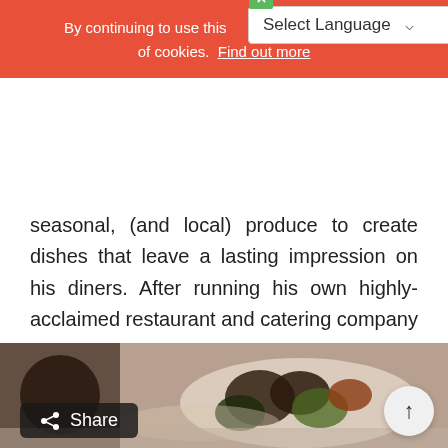By continuing to use this [site you agree to our use] of cookies.  Find out more
seasonal, (and local) produce to create dishes that leave a lasting impression on his diners. After running his own highly-acclaimed restaurant and catering company in Barcelona, Juan headed back to the island ...
Read More →   20 Minutes  Easy
[Figure (photo): Food photo at bottom of page showing dishes (mussels and other food items on a plate), with a Share button overlay and a back-to-top arrow button]